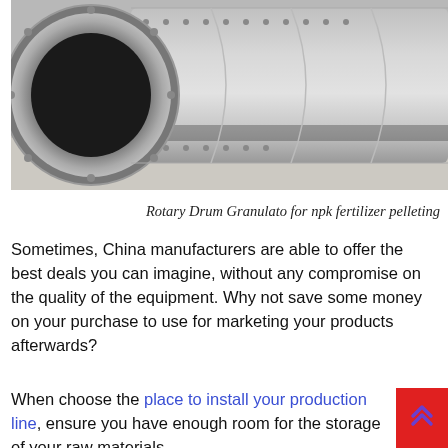[Figure (photo): Industrial rotary drum granulator — a large cylindrical metal drum with a circular opening at the front, rivets, and metal banding, sitting on a concrete warehouse floor.]
Rotary Drum Granulato for npk fertilizer pelleting
Sometimes, China manufacturers are able to offer the best deals you can imagine, without any compromise on the quality of the equipment. Why not save some money on your purchase to use for marketing your products afterwards?
When choose the place to install your production line, ensure you have enough room for the storage of your raw materials